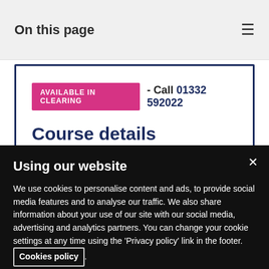On this page
AVAILABLE IN CLEARING - Call 01332 592022
Course details
Study options
Using our website
We use cookies to personalise content and ads, to provide social media features and to analyse our traffic. We also share information about your use of our site with our social media, advertising and analytics partners. You can change your cookie settings at any time using the 'Privacy policy' link in the footer. Cookies policy.
Cookies Settings